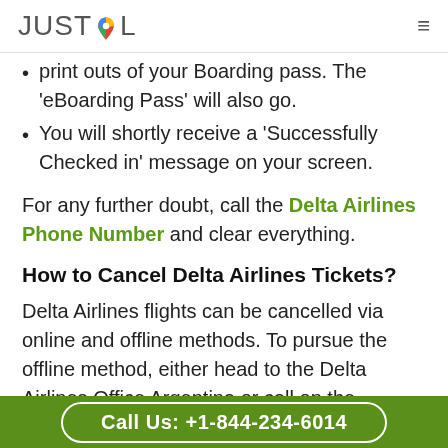JUSTCOL (logo with Google Maps pin icon) ☰
print outs of your Boarding pass. The 'eBoarding Pass' will also go.
You will shortly receive a 'Successfully Checked in' message on your screen.
For any further doubt, call the Delta Airlines Phone Number and clear everything.
How to Cancel Delta Airlines Tickets?
Delta Airlines flights can be cancelled via online and offline methods. To pursue the offline method, either head to the Delta Airlines Office Argentina or call on the customer service phone number. If you want
Call Us: +1-844-234-6014